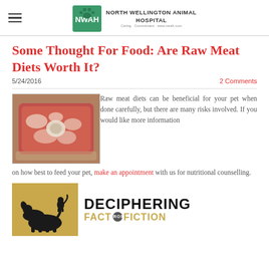North Wellington Animal Hospital
Some Thought For Food: Are Raw Meat Diets Worth It?
5/24/2016
2 Comments
[Figure (photo): Raw meat cuts on a surface]
Raw meat diets can be beneficial for your pet when done carefully, but there are many risks involved. If you would like more information on how best to feed your pet, make an appointment with us for nutritional counselling.
[Figure (infographic): Deciphering Fact From Fiction infographic with dog silhouettes on gold background]